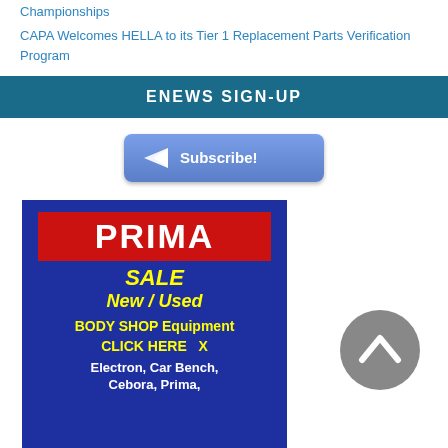Championships
CAPA Welcomes HELLA to its Tier 1 Replacement Parts Verification Program
ENEWS SIGN-UP
[Figure (other): Subscribe button with paper plane icon]
[Figure (other): PRIMA advertisement banner: SALE New/Used BODY SHOP Equipment CLICK HERE X Electron, Car Bench, Cebora, Prima]
[Figure (other): Gray circular scroll-to-top button with upward chevron]